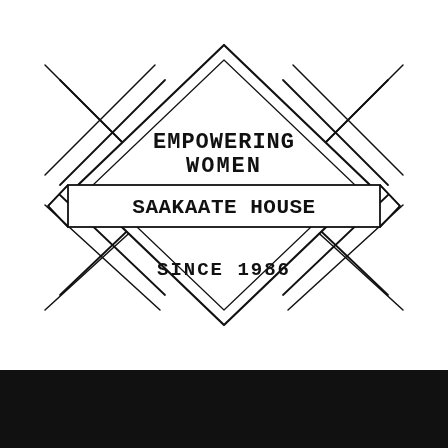[Figure (logo): Saakaate House logo: a hand-drawn geometric diamond/rhombus shape with decorative X patterns on the left and right sides. Inside the diamond, text reads 'EMPOWERING WOMEN' at the top. A ribbon/banner across the middle reads 'SAAKAATE HOUSE'. Below the banner inside the diamond reads 'SINCE 1986'. The style is sketch/hand-drawn in black on white.]